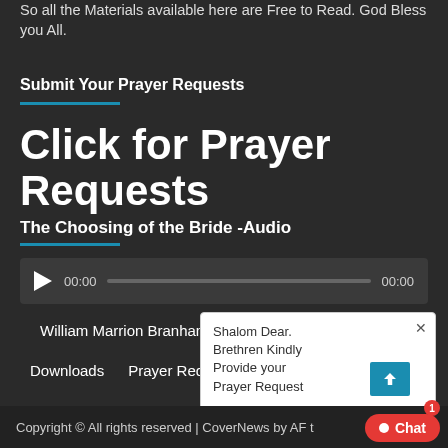So all the Materials available here are Free to Read. God Bless you All.
Submit Your Prayer Requests
Click for Prayer Requests
The Choosing of the Bride -Audio
[Figure (other): Audio player with play button, timecodes 00:00 and 00:00, and a progress bar]
William Marrion Branham
Seven Church
Downloads
Prayer Request Form
Tithes &
[Figure (screenshot): Chat popup with message: Shalom Dear. Brethren Kindly Provide your Prayer Request. Sender: Prayer Request, Time: just now]
Copyright © All rights reserved | CoverNews by AF t
Chat